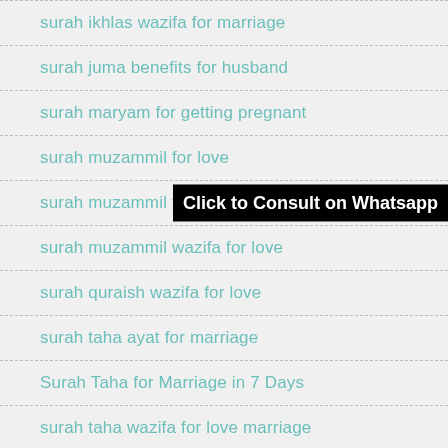surah ikhlas wazifa for marriage
surah juma benefits for husband
surah maryam for getting pregnant
surah muzammil for love
surah muzammil for marriage
surah muzammil wazifa for love
surah quraish wazifa for love
surah taha ayat for marriage
Surah Taha for Marriage in 7 Days
surah taha wazifa for love marriage